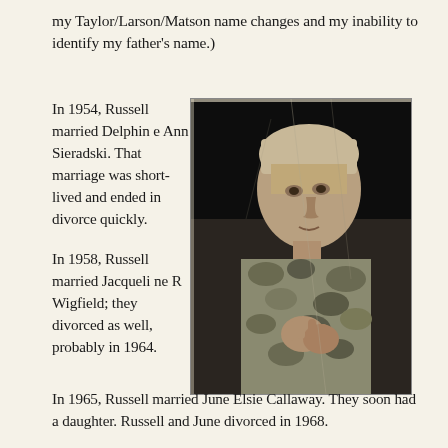my Taylor/Larson/Matson name changes and my inability to identify my father's name.)
In 1954, Russell married Delphine Ann Sieradski. That marriage was short-lived and ended in divorce quickly.
[Figure (photo): Black and white portrait photograph of an older man with light hair, wearing a camouflage patterned shirt, clasping his hands together and looking slightly to the side. The photo has visible scratches and aging marks.]
In 1958, Russell married Jacqueline R Wigfield; they divorced as well, probably in 1964.
In 1965, Russell married June Elsie Callaway. They soon had a daughter. Russell and June divorced in 1968.